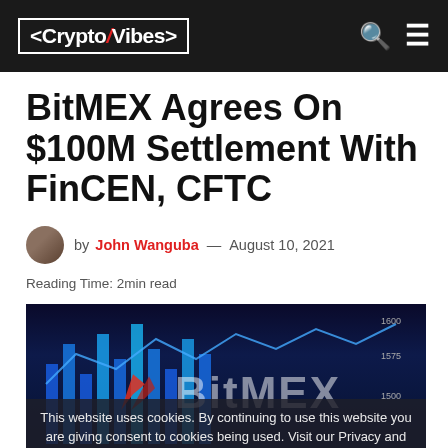<CryptoVibes>
BitMEX Agrees On $100M Settlement With FinCEN, CFTC
by John Wanguba — August 10, 2021
Reading Time: 2min read
[Figure (photo): BitMEX logo over a dark financial chart background with glowing blue bar charts and trading data]
This website uses cookies. By continuing to use this website you are giving consent to cookies being used. Visit our Privacy and Cookie Policy.